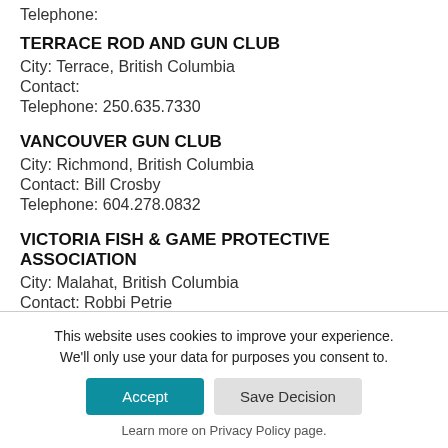Telephone:
TERRACE ROD AND GUN CLUB
City: Terrace, British Columbia
Contact:
Telephone: 250.635.7330
VANCOUVER GUN CLUB
City: Richmond, British Columbia
Contact: Bill Crosby
Telephone: 604.278.0832
VICTORIA FISH & GAME PROTECTIVE ASSOCIATION
City: Malahat, British Columbia
Contact: Robbi Petrie
This website uses cookies to improve your experience. We'll only use your data for purposes you consent to. Accept Save Decision Learn more on Privacy Policy page.